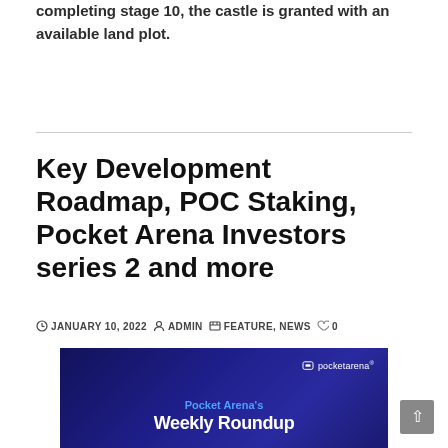completing stage 10, the castle is granted with an available land plot.
Key Development Roadmap, POC Staking, Pocket Arena Investors series 2 and more
JANUARY 10, 2022  ADMIN  FEATURE, NEWS  0
[Figure (illustration): Pocket Arena Weekly Roundup promotional image with blue/purple gradient background and white logo text]